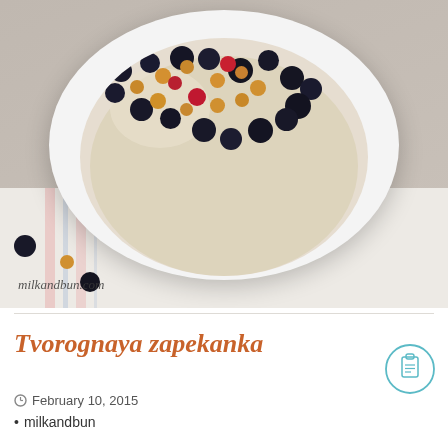[Figure (photo): Top-down photo of a white bowl filled with cream/yogurt topped with blackberries, golden raspberries, and red raspberries, placed on a striped cloth. Watermark 'milkandbun.com' in bottom left.]
Tvorognaya zapekanka
February 10, 2015
milkandbun